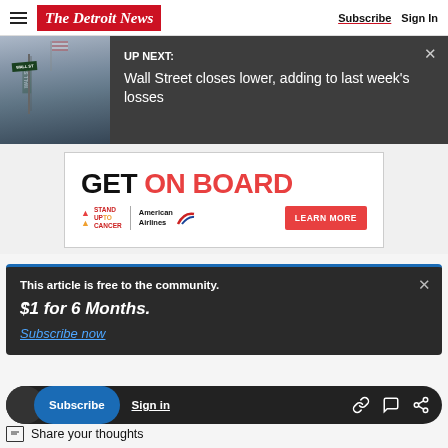The Detroit News — Subscribe | Sign In
[Figure (screenshot): Up Next banner with Wall Street image and text: UP NEXT: Wall Street closes lower, adding to last week's losses]
[Figure (infographic): Advertisement: GET ON BOARD — Stand Up To Cancer | American Airlines | LEARN MORE]
This article is free to the community. $1 for 6 Months. Subscribe now
Subscribe  Sign in
Share your thoughts